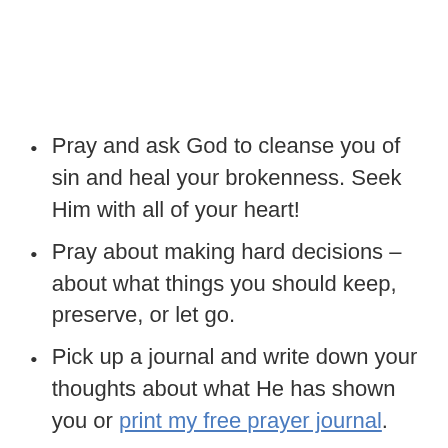Pray and ask God to cleanse you of sin and heal your brokenness. Seek Him with all of your heart!
Pray about making hard decisions – about what things you should keep, preserve, or let go.
Pick up a journal and write down your thoughts about what He has shown you or print my free prayer journal.
Choose an area in your home you want to